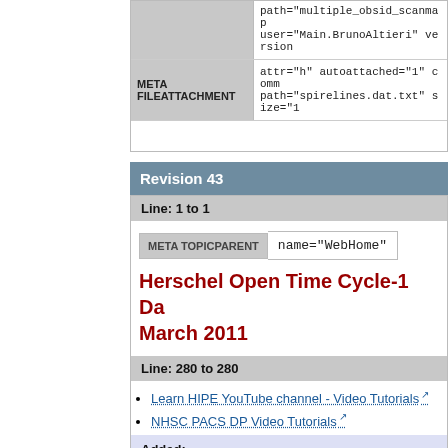|  |  |
| --- | --- |
|  | path="multiple_obsid_scanmap
user="Main.BrunoAltieri" version |
| META FILEATTACHMENT | attr="h" autoattached="1" comm
path="spirelines.dat.txt" size="1 |
Revision 43
Line: 1 to 1
| META TOPICPARENT | name="WebHome" |
| --- | --- |
Herschel Open Time Cycle-1 Da
March 2011
Line: 280 to 280
Learn HIPE YouTube channel - Video Tutorials
NHSC PACS DP Video Tutorials
Added: